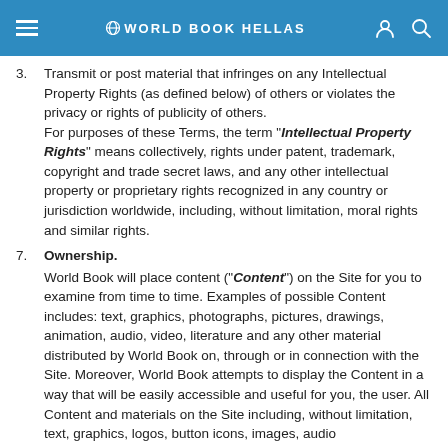WORLD BOOK HELLAS
3. Transmit or post material that infringes on any Intellectual Property Rights (as defined below) of others or violates the privacy or rights of publicity of others.
For purposes of these Terms, the term "Intellectual Property Rights" means collectively, rights under patent, trademark, copyright and trade secret laws, and any other intellectual property or proprietary rights recognized in any country or jurisdiction worldwide, including, without limitation, moral rights and similar rights.
7. Ownership.
World Book will place content (“Content”) on the Site for you to examine from time to time. Examples of possible Content includes: text, graphics, photographs, pictures, drawings, animation, audio, video, literature and any other material distributed by World Book on, through or in connection with the Site. Moreover, World Book attempts to display the Content in a way that will be easily accessible and useful for you, the user. All Content and materials on the Site including, without limitation, text, graphics, logos, button icons, images, audio